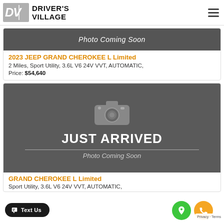[Figure (logo): Driver's Village logo with DV initials and text]
[Figure (photo): Photo Coming Soon placeholder banner for first car listing]
2023 JEEP GRAND CHEROKEE L Limited
2 Miles, Sport Utility, 3.6L V6 24V VVT, AUTOMATIC,
Price: $54,640
[Figure (photo): Just Arrived – Photo Coming Soon placeholder for second car listing]
GRAND CHEROKEE L Limited
Sport Utility, 3.6L V6 24V VVT, AUTOMATIC,